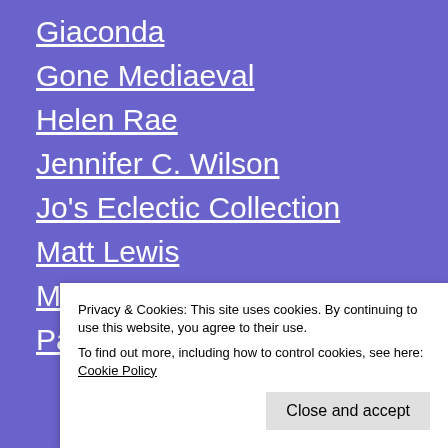Giaconda
Gone Mediaeval
Helen Rae
Jennifer C. Wilson
Jo's Eclectic Collection
Matt Lewis
Matthew Lewis on YouTube
Paul Trevor Bale
The Yorkist Age
Privacy & Cookies: This site uses cookies. By continuing to use this website, you agree to their use. To find out more, including how to control cookies, see here: Cookie Policy
Close and accept